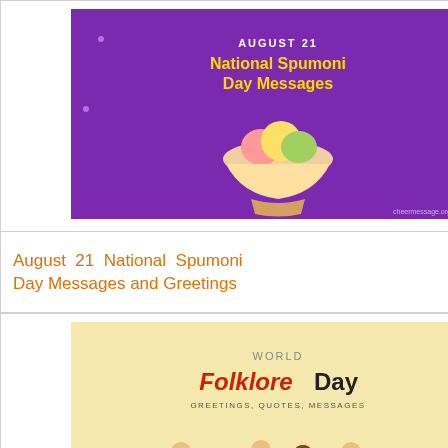[Figure (illustration): Purple background image with text 'AUGUST 21 National Spumoni Day Messages' and ice cream illustration]
August 21 National Spumoni Day Messages and Greetings
[Figure (illustration): Yellow/tan background image with text 'WORLD Folklore Day Greetings, Quotes, Messages' and folk musicians illustration]
World Folklore Day Greetings, Messages, Folklore Quotes
[Figure (illustration): Gray placeholder image (partially visible)]